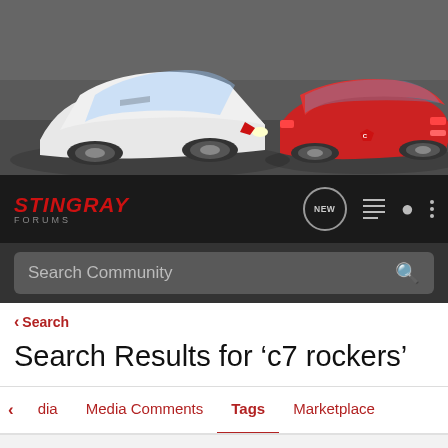[Figure (photo): Hero banner showing two Corvette Stingray sports cars on a road — a white one facing forward on the left and a red one showing its rear on the right.]
STINGRAY FORUMS — Navigation bar with logo, NEW button, menu icons, user icon, and more options icon
Search Community
< Search
Search Results for ‘c7 rockers’
< Media  Media Comments  Tags  Marketplace
Search Tags
× c7 rockers
Search